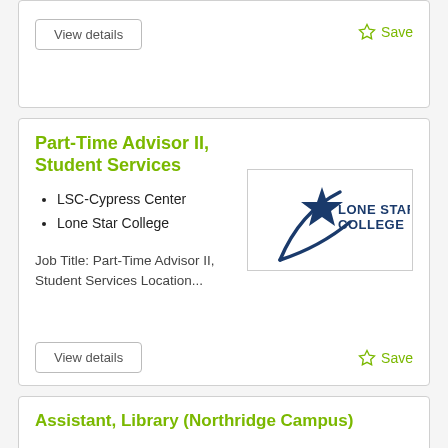View details
Save
Part-Time Advisor II, Student Services
LSC-Cypress Center
Lone Star College
Job Title: Part-Time Advisor II, Student Services Location...
[Figure (logo): Lone Star College logo with star graphic and text 'Lone Star College']
View details
Save
Assistant, Library (Northridge Campus)
Northridge Campus
Austin Community College
[Figure (logo): Austin Community College logo with colorful star and text 'Austin Community College District. Start Here. Get There.']